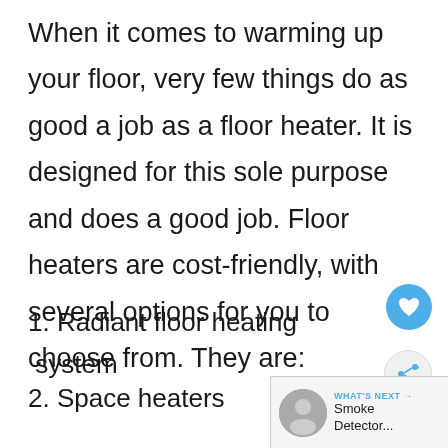When it comes to warming up your floor, very few things do as good a job as a floor heater. It is designed for this sole purpose and does a good job. Floor heaters are cost-friendly, with several options for you to choose from. They are:
1. Radiant floor heating  system
2. Space heaters